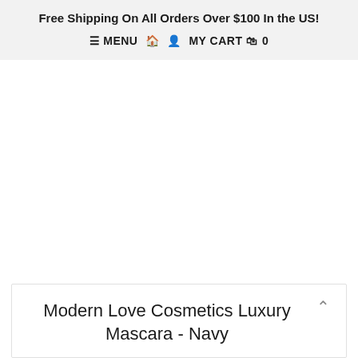Free Shipping On All Orders Over $100 In the US!
≡ MENU  🏠  👤  MY CART  🛒  0
Modern Love Cosmetics Luxury Mascara - Navy